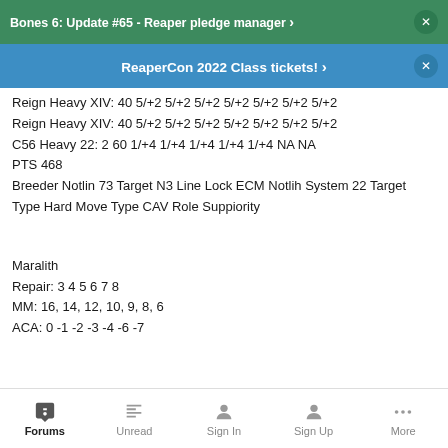Bones 6: Update #65 - Reaper pledge manager
ReaperCon 2022 Class tickets!
Reign Heavy XIV: 40 5/+2 5/+2 5/+2 5/+2 5/+2 5/+2 5/+2
Reign Heavy XIV: 40 5/+2 5/+2 5/+2 5/+2 5/+2 5/+2 5/+2
C56 Heavy 22: 2 60 1/+4 1/+4 1/+4 1/+4 1/+4 NA NA
PTS 468
Breeder Notlin 73 Target N3 Line Lock ECM Notlih System 22 Target Type Hard Move Type CAV Role Suppiority
Maralith
Repair: 3 4 5 6 7 8
MM: 16, 14, 12, 10, 9, 8, 6
ACA: 0 -1 -2 -3 -4 -6 -7
Forums  Unread  Sign In  Sign Up  More